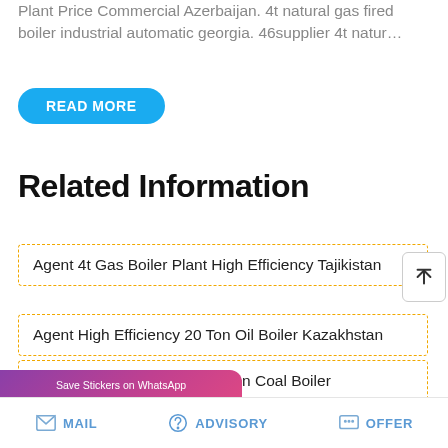Plant Price Commercial Azerbaijan. 4t natural gas fired boiler industrial automatic georgia. 46supplier 4t natur…
READ MORE
Related Information
Agent 4t Gas Boiler Plant High Efficiency Tajikistan
Agent High Efficiency 20 Ton Oil Boiler Kazakhstan
Agent Price Commercial 10 Ton Coal Boiler
l 2 Diesel Fired Boiler
[Figure (screenshot): WhatsApp sticker save overlay with purple-to-pink gradient background showing phone and emoji icons]
MAIL   ADVISORY   OFFER